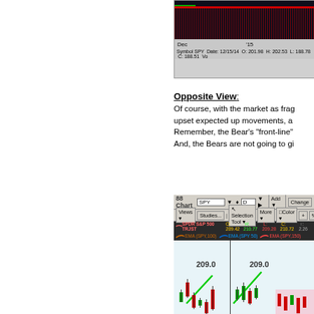[Figure (screenshot): Trading platform chart screenshot showing SPY stock chart with date axis showing Dec and '15, and info bar: Symbol SPY Date: 12/15/14 O: 201.98 H: 202.53 L: 188.78 C: 188.51 Vo]
Opposite View:
Of course, with the market as frag- upset expected up movements, a Remember, the Bear's "front-line" And, the Bears are not going to gi
[Figure (screenshot): thinkorswim/TD Ameritrade chart of SPY showing SPDR S&P 500 TRJST with OHLC data: O: 209.42 H: 210.77 L: 209.28 C: 210.72 and EMA indicators EMA(SPY,100), EMA(SPY,50), EMA(SPY,150) with candlestick chart showing price level 209.0]